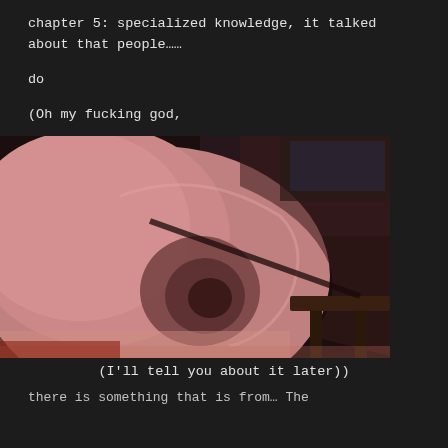chapter 5: specialized knowledge, it talked about that people……
do
(Oh my fucking god,
[Figure (photo): Close-up photo of a cartoon or animated character's large ear, pink-toned skin, with dark wooden furniture visible in the background. The image has a cinematic, low-angle perspective.]
(I'll tell you about it later))
there is something that is from… The